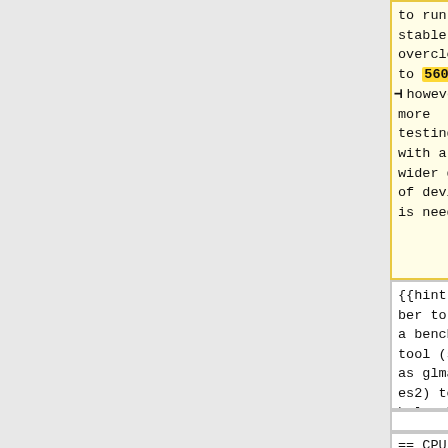to run stable overclocked to 560 Mhz, however more testing with a wider group of devices is needed.}}
to run stable overclocked to 540 Mhz, however more testing with a wider group of devices is needed.}}
{{hint|Remember to run a benchmark tool (such as glmark2-es2) to help check stability.}}
{{hint|Remember to run a benchmark tool (such as glmark2-es2) to help check stability.}}
== CPU ==
== CPU ==